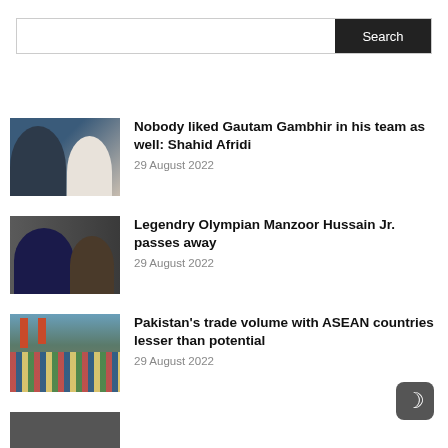Search
Nobody liked Gautam Gambhir in his team as well: Shahid Afridi
29 August 2022
Legendry Olympian Manzoor Hussain Jr. passes away
29 August 2022
Pakistan's trade volume with ASEAN countries lesser than potential
29 August 2022